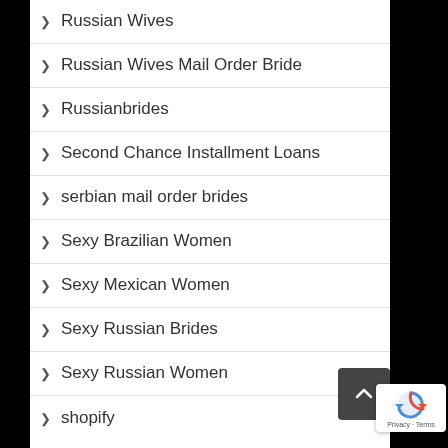Russian Wives
Russian Wives Mail Order Bride
Russianbrides
Second Chance Installment Loans
serbian mail order brides
Sexy Brazilian Women
Sexy Mexican Women
Sexy Russian Brides
Sexy Russian Women
shopify